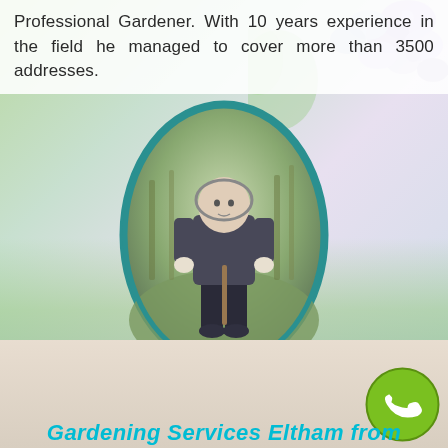Professional Gardener. With 10 years experience in the field he managed to cover more than 3500 addresses.
[Figure (photo): Oval portrait photo of Vesko, a gardener standing in a garden/field holding a tool, surrounded by hydrangea flowers in the background]
Vesko
works for our company for 1 year already. As he is specialised in shaping the bushes, lawn mowing and grass cutting, he helps to numerous Customers to maintain their gardens on daily bases.
[Figure (illustration): Green circular phone/call button icon in bottom right corner]
Gardening Services Eltham from